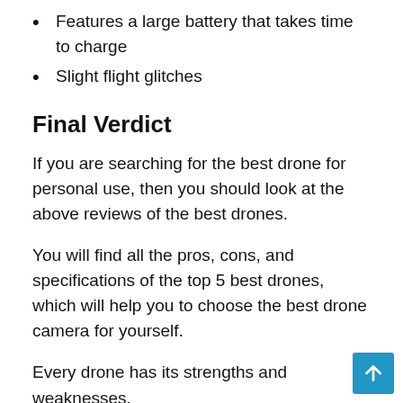Features a large battery that takes time to charge
Slight flight glitches
Final Verdict
If you are searching for the best drone for personal use, then you should look at the above reviews of the best drones.
You will find all the pros, cons, and specifications of the top 5 best drones, which will help you to choose the best drone camera for yourself.
Every drone has its strengths and weaknesses.
With the help of the best drones, you can take yo...